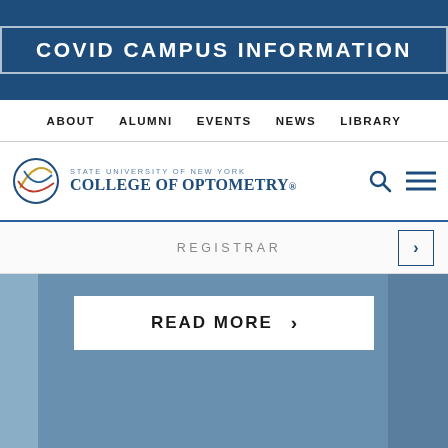COVID CAMPUS INFORMATION
ABOUT  ALUMNI  EVENTS  NEWS  LIBRARY
[Figure (logo): SUNY College of Optometry logo with circular eye graphic and text: STATE UNIVERSITY OF NEW YORK COLLEGE OF OPTOMETRY, with search and menu icons]
REGISTRAR
READ MORE
Apply
Give
Appointment